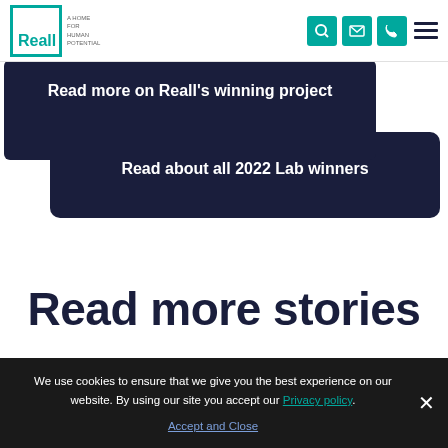Reall - A Home For Human Potential
Read more on Reall’s winning project
Read about all 2022 Lab winners
Read more stories
We use cookies to ensure that we give you the best experience on our website. By using our site you accept our Privacy policy. Accept and Close